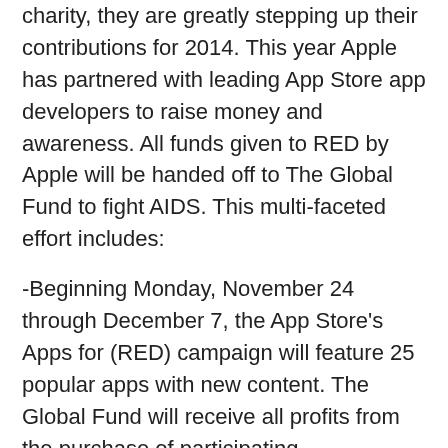charity, they are greatly stepping up their contributions for 2014. This year Apple has partnered with leading App Store app developers to raise money and awareness. All funds given to RED by Apple will be handed off to The Global Fund to fight AIDS. This multi-faceted effort includes:
-Beginning Monday, November 24 through December 7, the App Store’s Apps for (RED) campaign will feature 25 popular apps with new content. The Global Fund will receive all profits from the purchase of participating (PRODUCT) RED apps and in-app purchases on said apps.
-On Black Friday, November 28, consumers